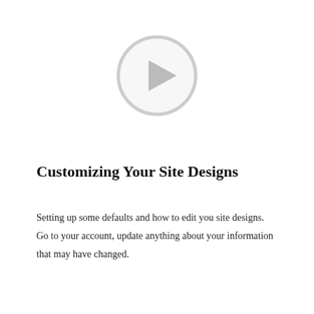[Figure (other): A circular play button icon with a light gray border and a right-pointing triangle in the center, styled as a video play button placeholder.]
Customizing Your Site Designs
Setting up some defaults and how to edit you site designs. Go to your account, update anything about your information that may have changed.